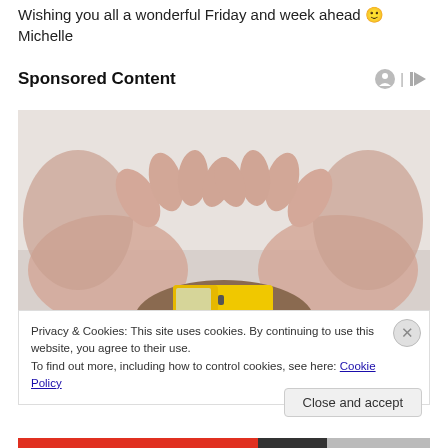Wishing you all a wonderful Friday and week ahead 🙂
Michelle
Sponsored Content
[Figure (photo): Two hands forming an arch/protective dome shape over a small yellow toy truck, white background, soft focus.]
Privacy & Cookies: This site uses cookies. By continuing to use this website, you agree to their use.
To find out more, including how to control cookies, see here: Cookie Policy
Close and accept